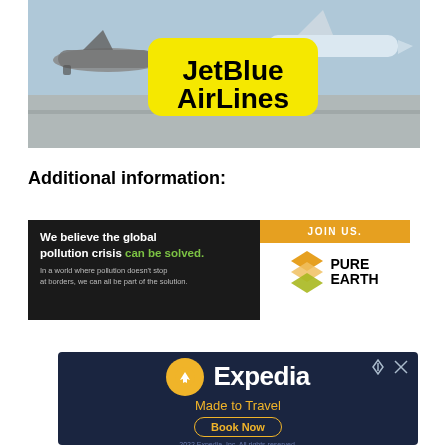[Figure (illustration): JetBlue Airlines banner advertisement showing airplanes on a runway with a yellow rounded rectangle logo displaying 'JetBlue AirLines' in bold black text]
Additional information:
[Figure (illustration): Pure Earth advertisement with dark background on left side reading 'We believe the global pollution crisis can be solved. In a world where pollution doesn't stop at borders, we can all be part of the solution.' Right side has orange JOIN US. button and Pure Earth logo with diamond stack icon]
[Figure (illustration): Expedia advertisement on dark navy background with Expedia logo and airplane icon in gold circle, tagline 'Made to Travel', 'Book Now' button with gold outline, and '2022 Expedia, Inc. All rights reserved.' text]